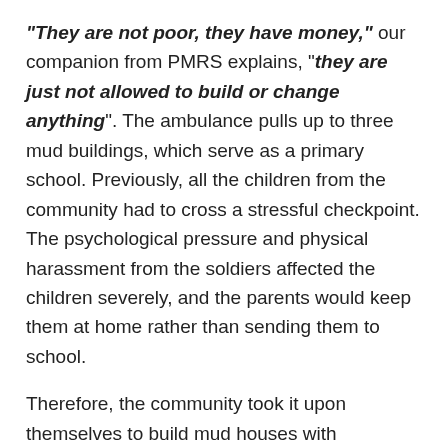“They are not poor, they have money,” our companion from PMRS explains, “they are just not allowed to build or change anything”. The ambulance pulls up to three mud buildings, which serve as a primary school. Previously, all the children from the community had to cross a stressful checkpoint. The psychological pressure and physical harassment from the soldiers affected the children severely, and the parents would keep them at home rather than sending them to school.
Therefore, the community took it upon themselves to build mud houses with corrugated iron roofs, which allows the classes some shelter from sun and wind, but are in no way sustainable. As the medical team sets up camp inside the school and around the shed-like houses and tents, people share tea and wave to us.